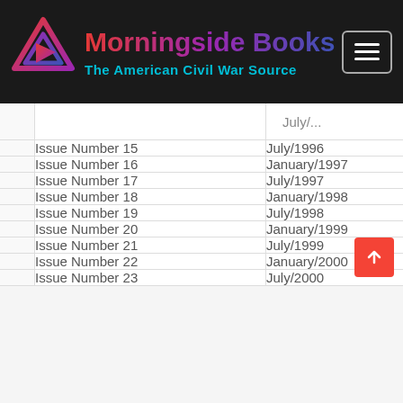Morningside Books – The American Civil War Source
|  | Issue | Date |
| --- | --- | --- |
|  | Issue Number 15 | July/1996 |
|  | Issue Number 16 | January/1997 |
|  | Issue Number 17 | July/1997 |
|  | Issue Number 18 | January/1998 |
|  | Issue Number 19 | July/1998 |
|  | Issue Number 20 | January/1999 |
|  | Issue Number 21 | July/1999 |
|  | Issue Number 22 | January/2000 |
|  | Issue Number 23 | July/2000 |